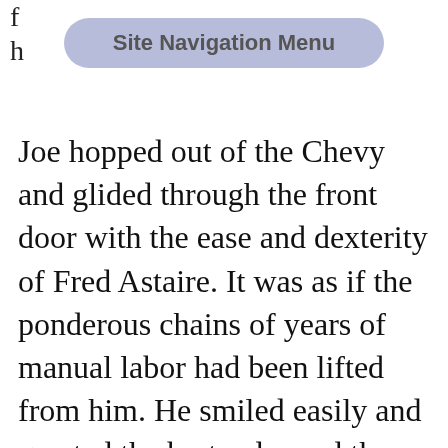f
h
[Figure (other): Site Navigation Menu button overlay — rounded rectangle with light purple/blue background, gray bold text reading 'Site Navigation Menu']
Joe hopped out of the Chevy and glided through the front door with the ease and dexterity of Fred Astaire. It was as if the ponderous chains of years of manual labor had been lifted from him. He smiled easily and greeted the bartender and the one other